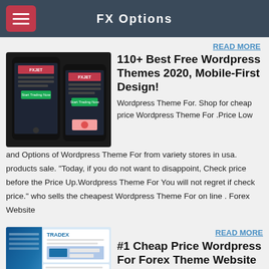FX Options
READ MORE
[Figure (screenshot): Two mobile phone screens showing the FXJET trading app website]
110+ Best Free Wordpress Themes 2020, Mobile-First Design!
Wordpress Theme For. Shop for cheap price Wordpress Theme For .Price Low and Options of Wordpress Theme For from variety stores in usa. products sale. "Today, if you do not want to disappoint, Check price before the Price Up.Wordpress Theme For You will not regret if check price." who sells the cheapest Wordpress Theme For on line . Forex Website
[Figure (screenshot): Screenshot of a Forex trading website with blue and white design, showing Tradex branding]
READ MORE
#1 Cheap Price Wordpress For Forex Theme Website …